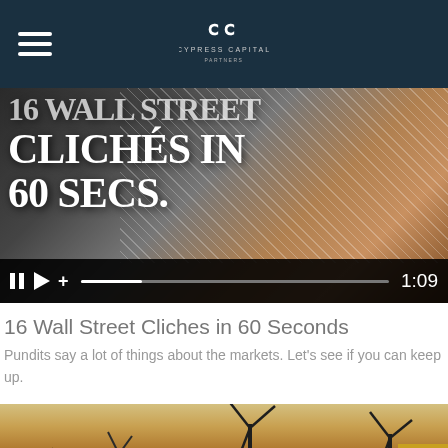Cypress Capital
[Figure (screenshot): Video thumbnail showing bold white text over dark image of hands holding a tablet: '16 WALL STREET CLICHÉS IN 60 SECS.' with video player controls showing 1:09 duration]
16 Wall Street Cliches in 60 Seconds
Pundits say a lot of things about the markets. Let's see if you can keep up.
[Figure (photo): Partially visible photo of wind turbines against a desert/dusk landscape with warm brown and golden tones]